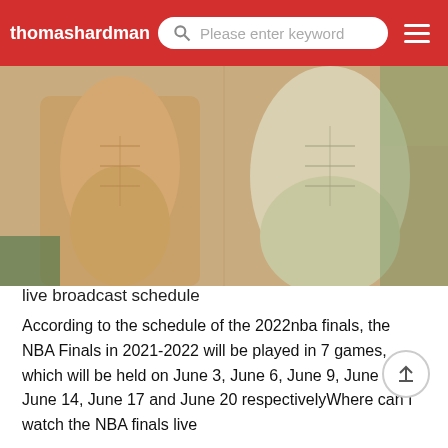thomashardman | Please enter keyword
[Figure (photo): Two shirtless male athletes showing abdominal muscles, with a green background suggesting a sports court or field]
live broadcast schedule
According to the schedule of the 2022nba finals, the NBA Finals in 2021-2022 will be played in 7 games, which will be held on June 3, June 6, June 9, June 11, June 14, June 17 and June 20 respectivelyWhere can I watch the NBA finals live
Tencent or Sina both have full view videos, which are divided into single videos, and the effect is very goodWhere can I watch the live broadcast of the NBA Finals
You can search the NBA green live broadcast on your mobile phone and watch the live broadcast of the NBA Finals